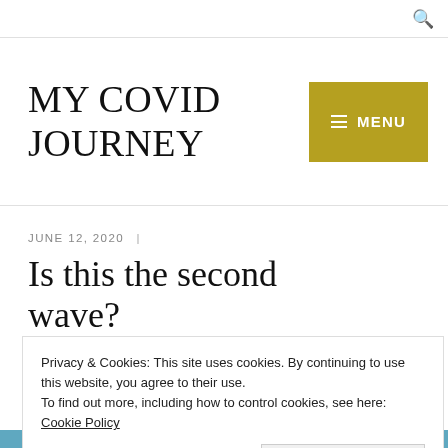MY COVID JOURNEY
JUNE 12, 2020  |
Is this the second wave?
Privacy & Cookies: This site uses cookies. By continuing to use this website, you agree to their use.
To find out more, including how to control cookies, see here: Cookie Policy
Close and accept